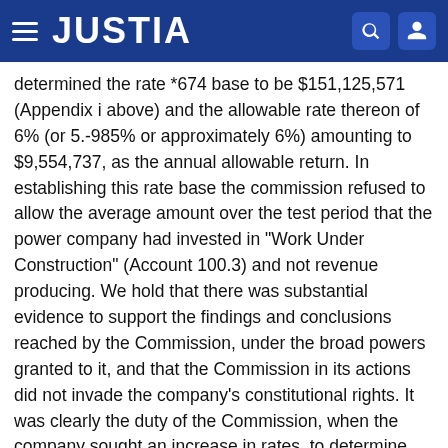JUSTIA
determined the rate *674 base to be $151,125,571 (Appendix i above) and the allowable rate thereon of 6% (or 5.-985% or approximately 6%) amounting to $9,554,737, as the annual allowable return. In establishing this rate base the commission refused to allow the average amount over the test period that the power company had invested in "Work Under Construction" (Account 100.3) and not revenue producing. We hold that there was substantial evidence to support the findings and conclusions reached by the Commission, under the broad powers granted to it, and that the Commission in its actions did not invade the company's constitutional rights. It was clearly the duty of the Commission, when the company sought an increase in rates, to determine whether the company was entitled to any increase in order to earn a fair return on its invested capital. It was not bound by its